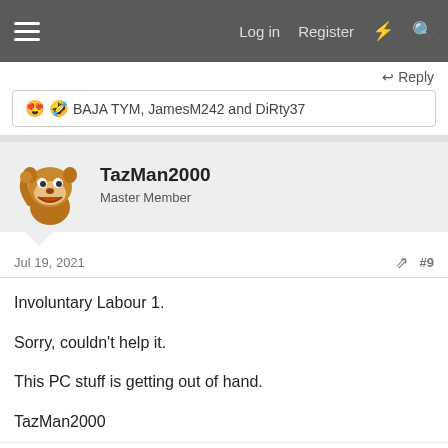Log in  Register
Reply
😍 🤣 BAJA TYM, JamesM242 and DiRty37
TazMan2000
Master Member
Jul 19, 2021  #9
Involuntary Labour 1.

Sorry, couldn't help it.

This PC stuff is getting out of hand.

TazMan2000
Reply